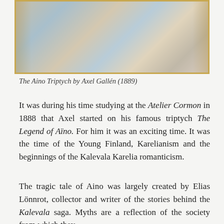[Figure (photo): The Aino Triptych painting by Axel Gallén (1889), showing figures in a classical triptych format with gold frame, depicting mythological Finnish scene with multiple panels.]
The Aino Triptych by Axel Gallén (1889)
It was during his time studying at the Atelier Cormon in 1888 that Axel started on his famous triptych The Legend of Aïno. For him it was an exciting time. It was the time of the Young Finland, Karelianism and the beginnings of the Kalevala Karelia romanticism.
The tragic tale of Aino was largely created by Elias Lönnrot, collector and writer of the stories behind the Kalevala saga. Myths are a reflection of the society from which they originate; in this case they recount and famil…